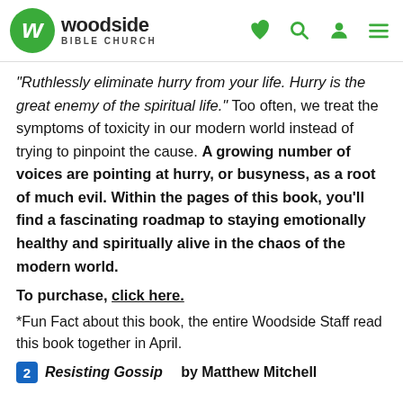Woodside Bible Church
“Ruthlessly eliminate hurry from your life. Hurry is the great enemy of the spiritual life.” Too often, we treat the symptoms of toxicity in our modern world instead of trying to pinpoint the cause. A growing number of voices are pointing at hurry, or busyness, as a root of much evil. Within the pages of this book, you’ll find a fascinating roadmap to staying emotionally healthy and spiritually alive in the chaos of the modern world.
To purchase, click here.
*Fun Fact about this book, the entire Woodside Staff read this book together in April.
2 Resisting Gossip by Matthew Mitchell